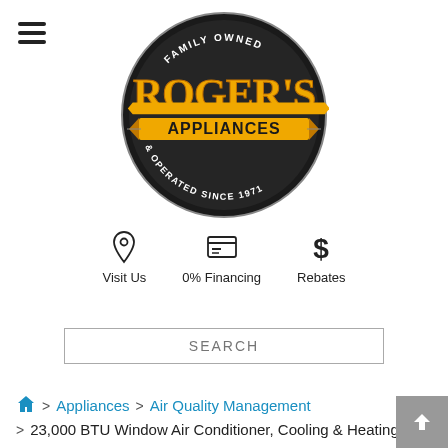[Figure (logo): Roger's Appliances logo — circular badge with dark background, gold text reading ROGER'S, ribbon banner reading APPLIANCES, text FAMILY OWNED & OPERATED SINCE 1971]
Visit Us
0% Financing
Rebates
SEARCH
Appliances > Air Quality Management > 23,000 BTU Window Air Conditioner, Cooling & Heating